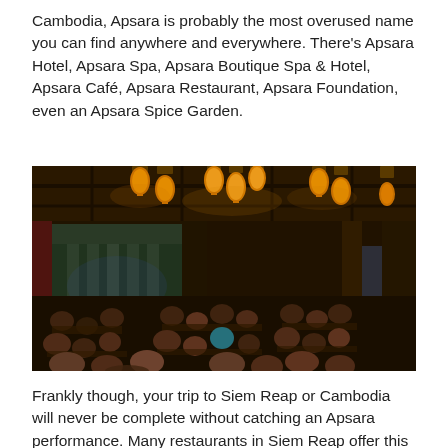Cambodia, Apsara is probably the most overused name you can find anywhere and everywhere. There's Apsara Hotel, Apsara Spa, Apsara Boutique Spa & Hotel, Apsara Café, Apsara Restaurant, Apsara Foundation, even an Apsara Spice Garden.
[Figure (photo): Interior of a large Cambodian restaurant/performance venue at night. Warm amber pendant lanterns hang from a dark wooden ceiling. In the background, a stage is lit showing temple-style stone carvings. The dining area is filled with many guests seated at tables.]
Frankly though, your trip to Siem Reap or Cambodia will never be complete without catching an Apsara performance. Many restaurants in Siem Reap offer this traditional dance performance